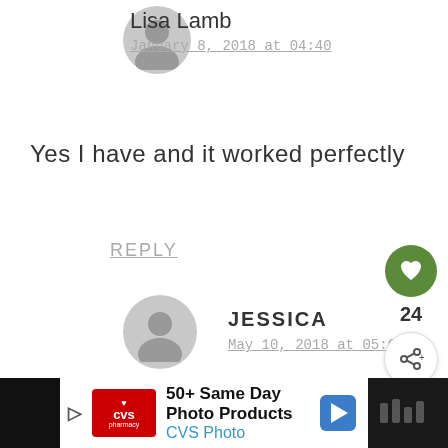Lisa Lamb
January 8, 2018 at 04:40
Yes I have and it worked perfectly
REPLY
[Figure (illustration): User avatar placeholder icon - gray circle with person silhouette]
JESSICA
May 10, 2018 at 05:08
I just used sugar free blackberry jelly (Smuckers). Pre freeze it is delicious!!! Waiting for them to freeze now.
[Figure (infographic): Floating action buttons: green heart button, count 24, white share button]
[Figure (infographic): CVS Pharmacy advertisement banner: 50+ Same Day Photo Products, CVS Photo]